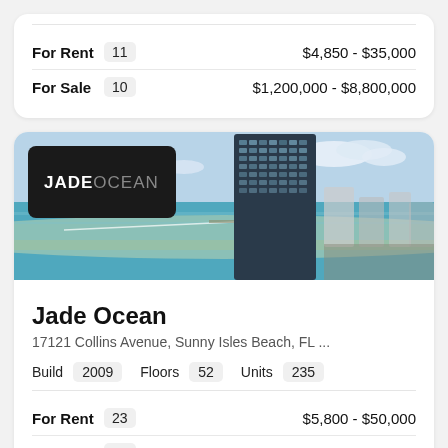For Rent 11   $4,850 - $35,000
For Sale 10   $1,200,000 - $8,800,000
[Figure (photo): Aerial photo of Jade Ocean luxury high-rise tower in Sunny Isles Beach, Florida, with ocean view, beach, and city skyline. JADE OCEAN logo overlay in top left corner.]
Jade Ocean
17121 Collins Avenue, Sunny Isles Beach, FL ...
Build 2009   Floors 52   Units 235
For Rent 23   $5,800 - $50,000
For Sale 10   $1,099,000 - $3,495,000